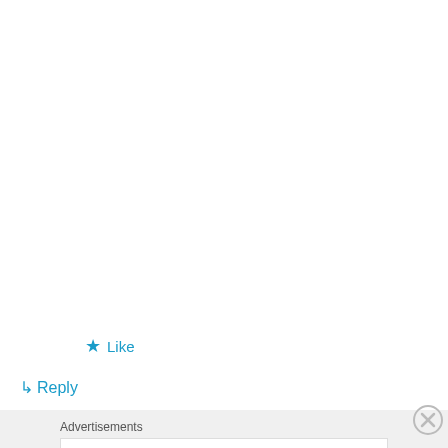better choice (seriously, could there ever be a character better than him? no.), but I'm disappointed that Topher is missing from the list — no one from Dollhouse is listed, actually! Also I'm missing Wesley (although I could go on forever…also I'm missing River, also I'm missing the Shepherd, also I'm missing Anya…oh no, what about Anya?!), although I'm not sure who I would take off the list…probably we need a top 40.
★ Like
↳ Reply
Advertisements
[Figure (other): Advertisement banner for ThePlatform Where WordPress Works Best by Pressable]